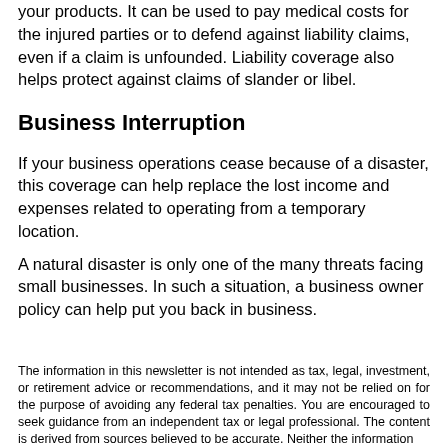your products. It can be used to pay medical costs for the injured parties or to defend against liability claims, even if a claim is unfounded. Liability coverage also helps protect against claims of slander or libel.
Business Interruption
If your business operations cease because of a disaster, this coverage can help replace the lost income and expenses related to operating from a temporary location.
A natural disaster is only one of the many threats facing small businesses. In such a situation, a business owner policy can help put you back in business.
The information in this newsletter is not intended as tax, legal, investment, or retirement advice or recommendations, and it may not be relied on for the purpose of avoiding any federal tax penalties. You are encouraged to seek guidance from an independent tax or legal professional. The content is derived from sources believed to be accurate. Neither the information nor any opinion expressed constitutes a solicitation for the -